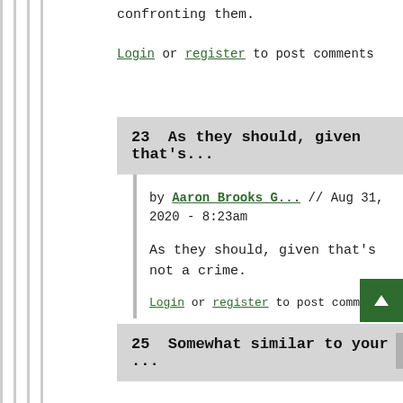confronting them.
Login or register to post comments
23  As they should, given that's...
by Aaron Brooks G... // Aug 31, 2020 - 8:23am
As they should, given that's not a crime.
Login or register to post comments
25  Somewhat similar to your...